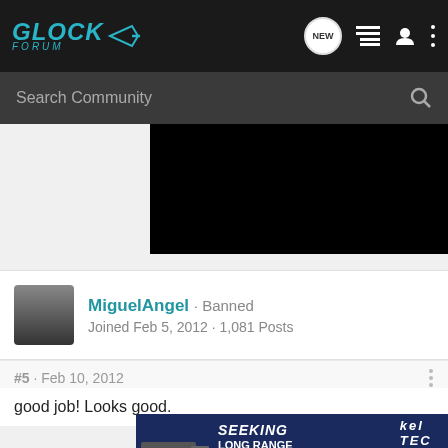GLOCK FORUM
Search Community
[Figure (photo): Black rectangular image area (redacted/censored image content)]
MiguelAngel · Banned
Joined Feb 5, 2012 · 1,081 Posts
#5 · Feb 10, 2012
good job! Looks good.
[Figure (infographic): Kel-Tec advertisement banner: SEEKING LONG RANGE RELATIONSHIP, THE CP33® PISTOL with Buy Now button]